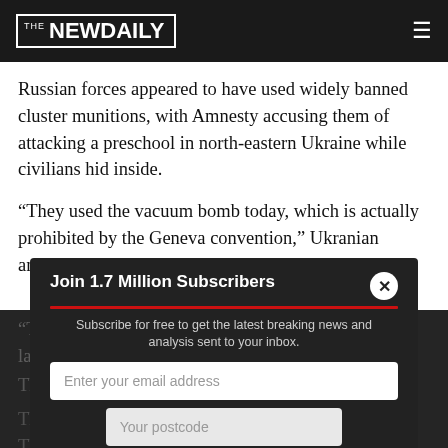THE NEW DAILY
Russian forces appeared to have used widely banned cluster munitions, with Amnesty accusing them of attacking a preschool in north-eastern Ukraine while civilians hid inside.
“They used the vacuum bomb today, which is actually prohibited by the Geneva convention,” Ukranian ambassador Oksana Markarova said on Tuesday.
“The devastat[ing attack] on Ukrain[e at] large.”
The claims are yet to be verified.
Thermobaric [weapons are a type of] ammunition. The BBC rep[orted they use a high-]pressure explosive, and suc[h weapons can create a surr]ounding environmen[t to generate an extrem]ely [devastating]
[Figure (screenshot): Subscribe modal overlay: 'Join 1.7 Million Subscribers' with email and postcode fields and a red Subscribe button]